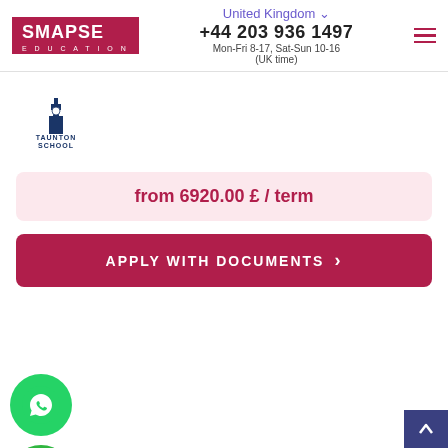SMAPSE EDUCATION | United Kingdom | +44 203 936 1497 | Mon-Fri 8-17, Sat-Sun 10-16 (UK time)
[Figure (logo): Taunton School logo with clock tower icon and text TAUNTON SCHOOL]
from 6920.00 £ / term
APPLY WITH DOCUMENTS
| PROGRAM NAME | DATE | AGE |
| --- | --- | --- |
| course+summer holidays | [calendar icon] | 8-12 |
|  | [calendar icon] | 14-16 |
ing 4 weeks ago
Show all courses (6)